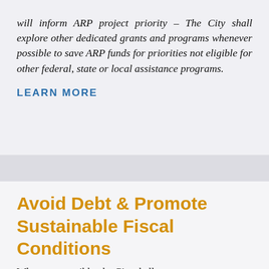will inform ARP project priority – The City shall explore other dedicated grants and programs whenever possible to save ARP funds for priorities not eligible for other federal, state or local assistance programs.
LEARN MORE
Avoid Debt & Promote Sustainable Fiscal Conditions
Whenever possible, the City shall